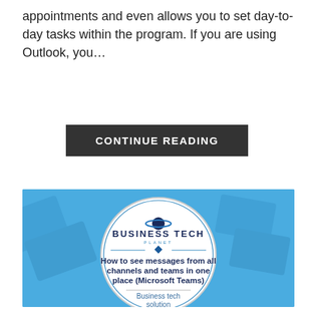appointments and even allows you to set day-to-day tasks within the program. If you are using Outlook, you…
CONTINUE READING
[Figure (illustration): Business Tech Planet logo and article thumbnail showing 'How to see messages from all channels and teams in one place (Microsoft Teams)' with 'Business tech solution' label, on a blue background with a white circular emblem.]